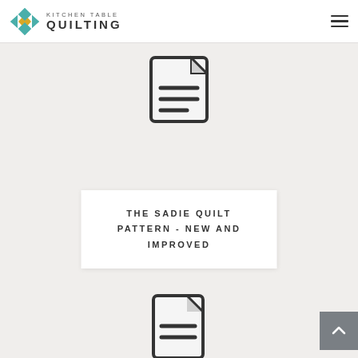KITCHEN TABLE QUILTING
[Figure (illustration): Document/file icon with lines indicating text content, top position]
THE SADIE QUILT PATTERN - NEW AND IMPROVED
[Figure (illustration): Document/file icon with lines indicating text content, bottom position]
[Figure (illustration): Gray back-to-top button with upward chevron arrow]